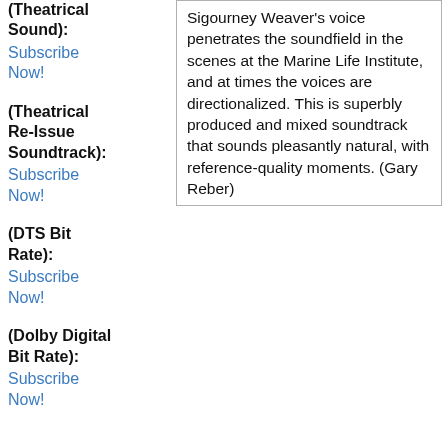(Theatrical Sound): Subscribe Now!
(Theatrical Re-Issue Soundtrack): Subscribe Now!
(DTS Bit Rate): Subscribe Now!
(Dolby Digital Bit Rate): Subscribe Now!
Sigourney Weaver's voice penetrates the soundfield in the scenes at the Marine Life Institute, and at times the voices are directionalized. This is superbly produced and mixed soundtrack that sounds pleasantly natural, with reference-quality moments. (Gary Reber)